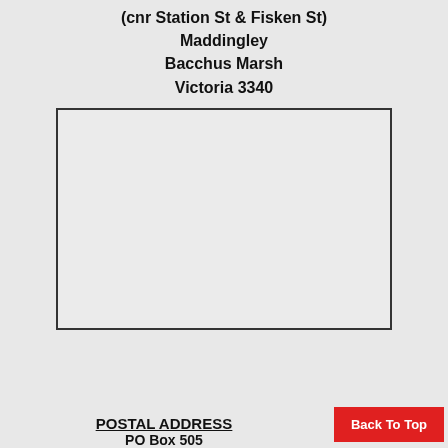(cnr Station St & Fisken St)
Maddingley
Bacchus Marsh
Victoria 3340
[Figure (map): Empty map placeholder box with black border, showing a location map area for the address at cnr Station St & Fisken St, Maddingley, Bacchus Marsh, Victoria 3340]
Back To Top
POSTAL ADDRESS
PO Box 505